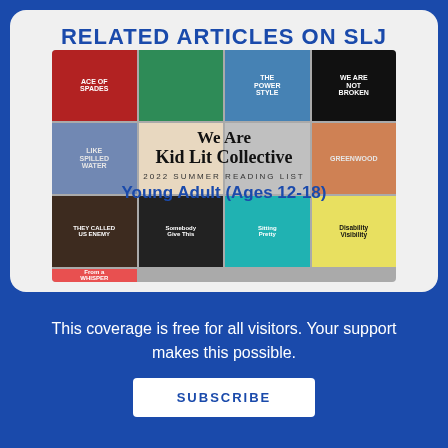RELATED ARTICLES ON SLJ
[Figure (illustration): Collage of book covers for the We Are Kid Lit Collective 2022 Summer Reading List, Young Adult (Ages 12-18), featuring books such as Ace of Spades, We Are Not Broken, Disability Visibility, and others.]
This coverage is free for all visitors. Your support makes this possible.
SUBSCRIBE